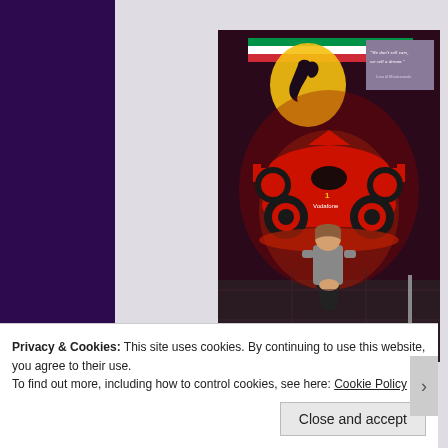[Figure (photo): Photo of a woman kneeling in front of a red Ferrari Formula 1 car on display indoors. The Ferrari prancing horse logo is lit on the wall behind. A quote sign reads 'We don't sell cars, we sell a dream.' attributed to Luca di Montezemolo.]
Privacy & Cookies: This site uses cookies. By continuing to use this website, you agree to their use.
To find out more, including how to control cookies, see here: Cookie Policy
Close and accept